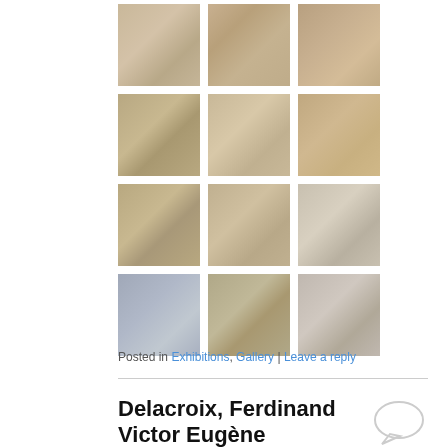[Figure (photo): 3x4 grid of artwork thumbnail images showing paintings in muted warm tones depicting figures, scenes, and landscapes]
Posted in Exhibitions, Gallery | Leave a reply
Delacroix, Ferdinand Victor Eugène